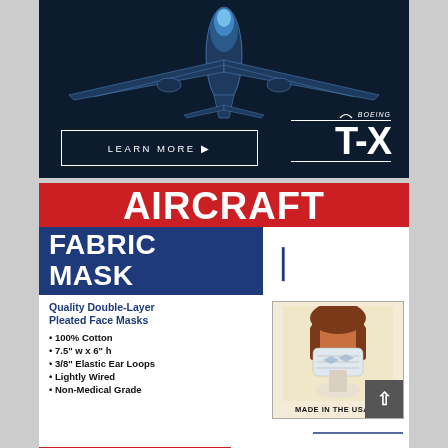[Figure (illustration): Boeing T-X aircraft advertisement on dark navy background. Features a front-view jet aircraft illustration at top, 'LEARN MORE' button in white border, and Boeing T-X logo on the right.]
[Figure (infographic): Aircraft Fabric Mask advertisement. Red top banner with 'AIRCRAFT' in white bold text. Navy blue band with 'FABRIC MASK' text. White content area with product photo of a face mask, bullet list of features, price and free shipping band, Aerotech News logo, and navy blue footer with website.]
AIRCRAFT
FABRIC MASK
Quality Double-Layer Pleated Face Masks
100% Cotton
7.5" w x 6" h
3/8" Elastic Ear Loops
Lightly Wired
Non-Medical Grade
$17.50 FREE SHIPPING
AEROTECHNEWS.COM
Available for purchase at www.aerotechnews.com/shop